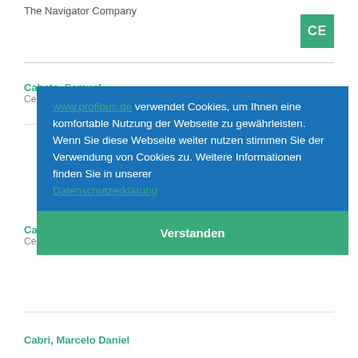The Navigator Company
[Figure (logo): CE badge — green square with white CE text]
Cabete, Samuel
Celut... (company name partially visible)
Cant... Marcos Dozier
Cementos Avellaneda S.A.
www.profibus.de verwendet Cookies, um Ihnen eine komfortable Nutzung der Webseite zu gewährleisten. Wenn Sie diese Webseite weiter nutzen stimmen Sie der Verwendung von Cookies zu. Weitere Informationen finden Sie in unserer Datenschutzerklärung
Verstanden
Cabri, Marcelo Daniel